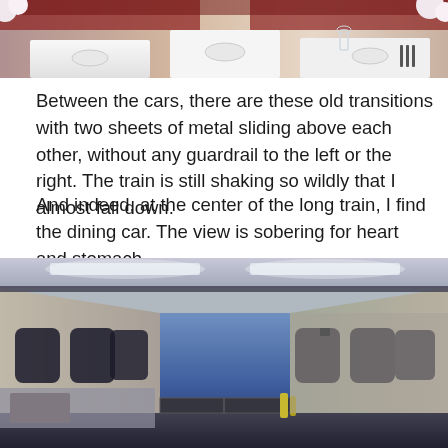[Figure (photo): Top portion of a train dining car interior showing set tables with white tablecloths, red upholstered seats, plates, glasses, and flowers.]
Between the cars, there are these old transitions with two sheets of metal sliding above each other, without any guardrail to the left or the right. The train is still shaking so wildly that I almost fall down.
And indeed, at the center of the long train, I find the dining car. The view is sobering for heart and stomach.
[Figure (photo): Interior of a train corridor/between-cars area showing metal flooring, walls, windows on both sides, fluorescent ceiling lights, and a blue gap visible between two train cars.]